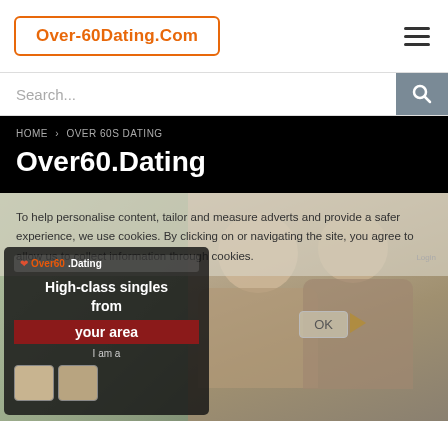[Figure (logo): Over-60Dating.Com logo in orange text inside an orange rounded rectangle border]
Search...
HOME > OVER 60S DATING
Over60.Dating
To help personalise content, tailor and measure adverts and provide a safer experience, we use cookies. By clicking on or navigating the site, you agree to allow us to collect information through cookies.
[Figure (screenshot): Screenshot of Over60.Dating website showing a mobile app interface with 'High-class singles from your area' text and a couple photo in the background, with an OK button overlay]